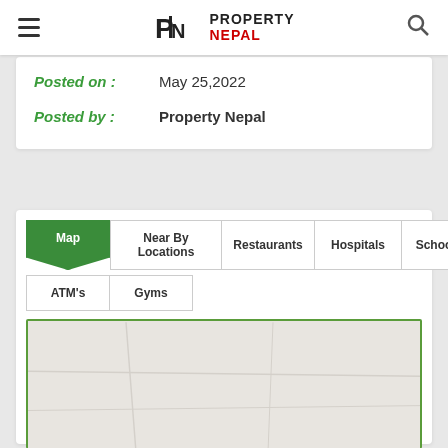Property Nepal
Posted on :    May 25,2022
Posted by :    Property Nepal
Map | Near By Locations | Restaurants | Hospitals | Schools | ATM's | Gyms
[Figure (map): Embedded map placeholder with green border showing a light beige/grey map area]